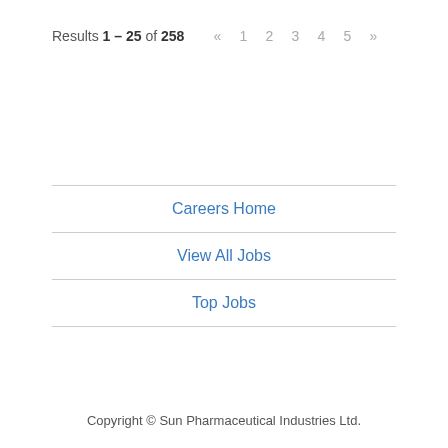Results 1 – 25 of 258  «  1  2  3  4  5  »
Careers Home
View All Jobs
Top Jobs
Copyright © Sun Pharmaceutical Industries Ltd.